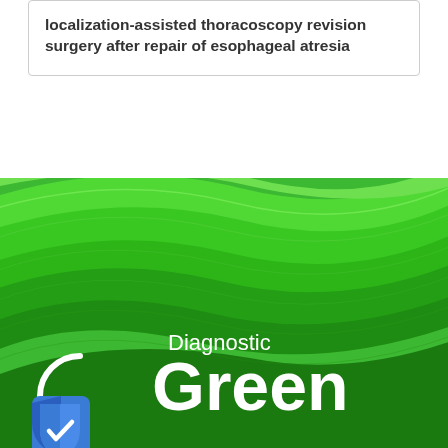localization-assisted thoracoscopy revision surgery after repair of esophageal atresia
[Figure (illustration): Green abstract wave ribbon design with 'Diagnostic Green' brand logo in white text and a blue shield checkmark icon in the lower left]